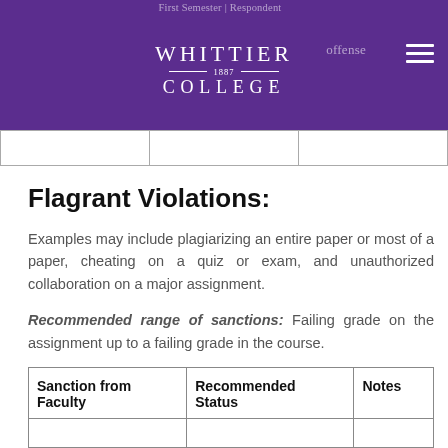Whittier College — 1887 — [partial: offense]
Flagrant Violations:
Examples may include plagiarizing an entire paper or most of a paper, cheating on a quiz or exam, and unauthorized collaboration on a major assignment.
Recommended range of sanctions: Failing grade on the assignment up to a failing grade in the course.
| Sanction from Faculty | Recommended Status | Notes |
| --- | --- | --- |
|  |  |  |